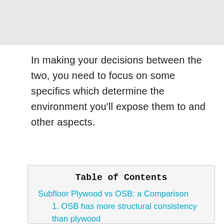[Figure (photo): Top image strip placeholder (gray background image area)]
In making your decisions between the two, you need to focus on some specifics which determine the environment you'll expose them to and other aspects.
Table of Contents
Subfloor Plywood vs OSB: a Comparison
1. OSB has more structural consistency than plywood
2. Plywood Dries Out Faster but OSB Absorbs Less Moisture
3. OSB is Cheaper than Plywood